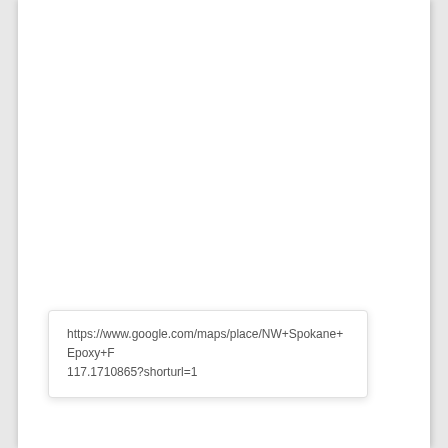https://www.google.com/maps/place/NW+Spokane+Epoxy+F 117.1710865?shorturl=1